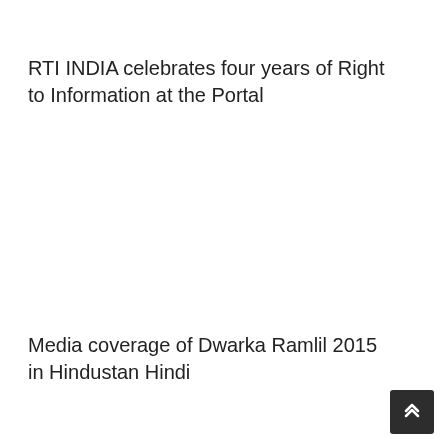RTI INDIA celebrates four years of Right to Information at the Portal
Media coverage of Dwarka Ramlil 2015 in Hindustan Hindi